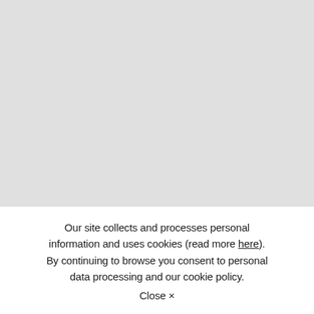[Figure (other): Large gray placeholder rectangle filling the upper portion of the page]
Our site collects and processes personal information and uses cookies (read more here). By continuing to browse you consent to personal data processing and our cookie policy. Close ×